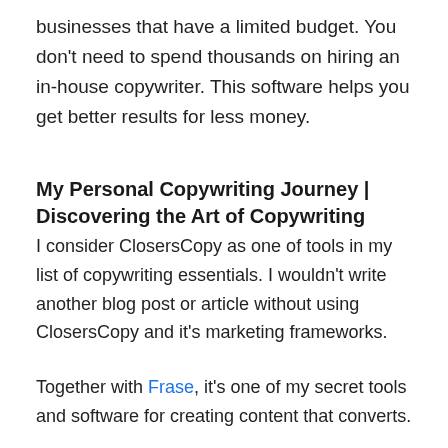businesses that have a limited budget. You don't need to spend thousands on hiring an in-house copywriter. This software helps you get better results for less money.
My Personal Copywriting Journey | Discovering the Art of Copywriting
I consider ClosersCopy as one of tools in my list of copywriting essentials. I wouldn't write another blog post or article without using ClosersCopy and it's marketing frameworks.
Together with Frase, it's one of my secret tools and software for creating content that converts.